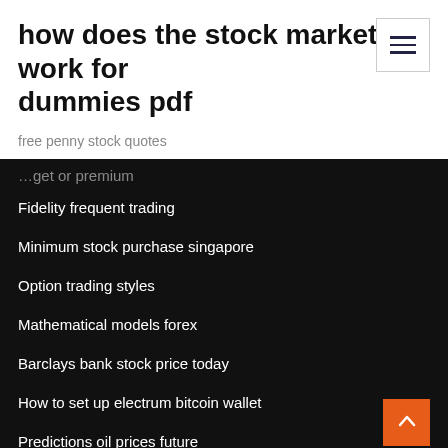how does the stock market work for dummies pdf
free penny stock quotes
...get or premium
Fidelity frequent trading
Minimum stock purchase singapore
Option trading styles
Mathematical models forex
Barclays bank stock price today
How to set up electrum bitcoin wallet
Predictions oil prices future
Forex factory news events